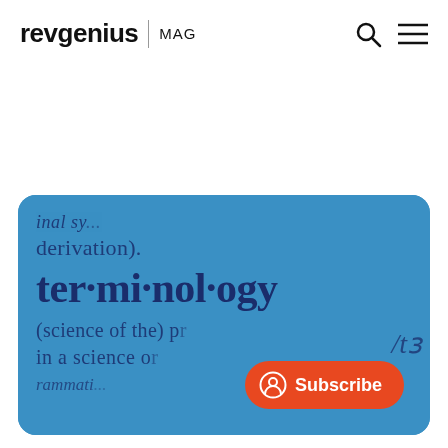revgenius | MAG
[Figure (photo): Close-up photo of a dictionary page showing the word 'ter·mi·nol·ogy' in bold with surrounding text including 'derivation)', '(science of the) pr', 'in a science or', and partial phonetic notation '/tɜ'. The background is blue.]
Subscribe